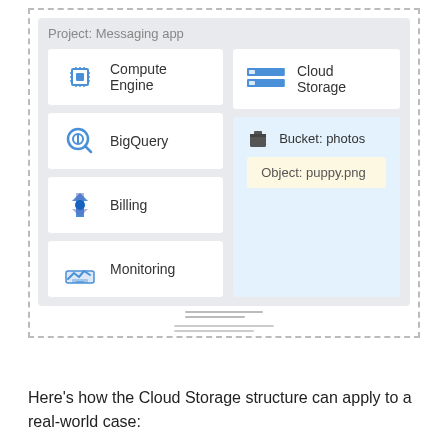[Figure (infographic): A diagram showing a 'Project: Messaging app' panel (dashed border) containing a grey inner panel with four service cards on the left (Compute Engine, BigQuery, Billing, Monitoring) and on the right a Cloud Storage card and a Bucket: photos panel containing an Object: puppy.png element.]
Here's how the Cloud Storage structure can apply to a real-world case: